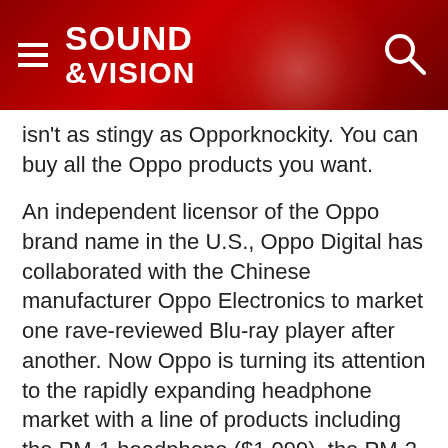SOUND &VISION
isn't as stingy as Opporknockity. You can buy all the Oppo products you want.
An independent licensor of the Oppo brand name in the U.S., Oppo Digital has collaborated with the Chinese manufacturer Oppo Electronics to market one rave-reviewed Blu-ray player after another. Now Oppo is turning its attention to the rapidly expanding headphone market with a line of products including the PM-1 headphone ($1,099), the PM-2 headphone ($699), and the DSD-capable HA-1 headphone amplifier ($1,199).
The PM-1 makes a first impression than can only be described as brilliant. Crack open the carton and pull